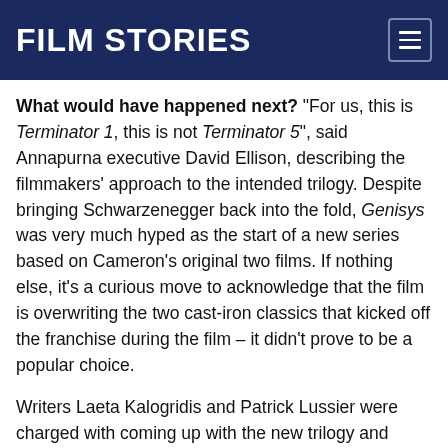FILM STORIES
What would have happened next? “For us, this is Terminator 1, this is not Terminator 5”, said Annapurna executive David Ellison, describing the filmmakers’ approach to the intended trilogy. Despite bringing Schwarzenegger back into the fold, Genisys was very much hyped as the start of a new series based on Cameron’s original two films. If nothing else, it’s a curious move to acknowledge that the film is overwriting the two cast-iron classics that kicked off the franchise during the film – it didn’t prove to be a popular choice.
Writers Laeta Kalogridis and Patrick Lussier were charged with coming up with the new trilogy and while doing press rounds for Genisys, they were emphatic in saying that they had a three-film arc for this new alternate timeline. Indeed, they claimed that they knew the last line of the third movie but were